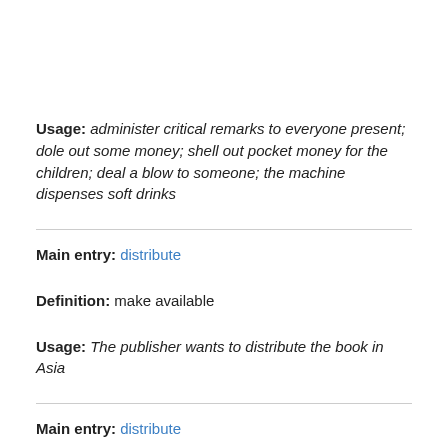Usage: administer critical remarks to everyone present; dole out some money; shell out pocket money for the children; deal a blow to someone; the machine dispenses soft drinks
Main entry: distribute
Definition: make available
Usage: The publisher wants to distribute the book in Asia
Main entry: distribute
Definition: be mathematically distributive